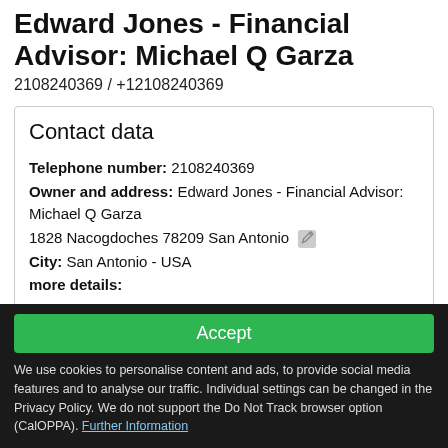Edward Jones - Financial Advisor: Michael Q Garza
2108240369 / +12108240369
Contact data
Telephone number: 2108240369
Owner and address: Edward Jones - Financial Advisor: Michael Q Garza
1828 Nacogdoches 78209 San Antonio
City: San Antonio - USA
more details:
Website
This info is supplied without liability.
Accept
We use cookies to personalise content and ads, to provide social media features and to analyse our traffic. Individual settings can be changed in the Privacy Policy. We do not support the Do Not Track browser option (CalOPPA). Further Information